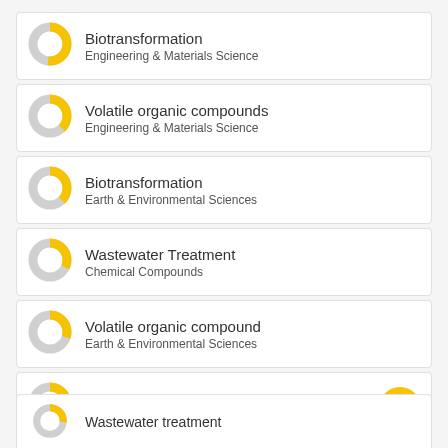Biotransformation — Engineering & Materials Science
Volatile organic compounds — Engineering & Materials Science
Biotransformation — Earth & Environmental Sciences
Wastewater Treatment — Chemical Compounds
Volatile organic compound — Earth & Environmental Sciences
Wastewater — Chemical Compounds
Wastewater (partial, cut off)